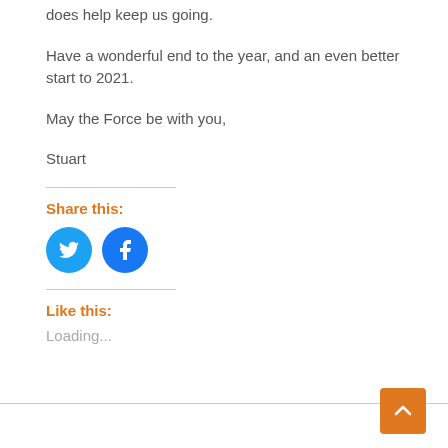does help keep us going.
Have a wonderful end to the year, and an even better start to 2021.
May the Force be with you,
Stuart
Share this:
[Figure (illustration): Twitter and Facebook social share icon buttons (circular icons)]
Like this:
Loading...
[Figure (illustration): Orange scroll-to-top button with upward chevron arrow]